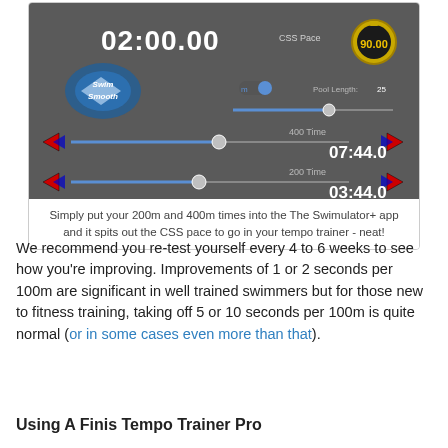[Figure (screenshot): Screenshot of Swimulator+ app showing CSS pace calculator with time displays 02:00.00, 07:44.0 for 400m, 03:44.0 for 200m, and sliders for pool length and times]
Simply put your 200m and 400m times into the The Swimulator+ app and it spits out the CSS pace to go in your tempo trainer - neat!
We recommend you re-test yourself every 4 to 6 weeks to see how you're improving. Improvements of 1 or 2 seconds per 100m are significant in well trained swimmers but for those new to fitness training, taking off 5 or 10 seconds per 100m is quite normal (or in some cases even more than that).
Using A Finis Tempo Trainer Pro